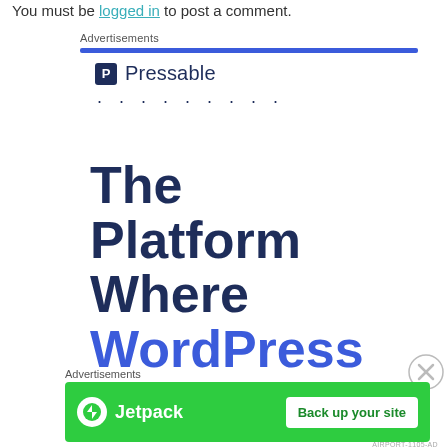You must be logged in to post a comment.
Advertisements
[Figure (logo): Pressable logo with icon and dotted line below]
[Figure (infographic): Large bold text reading 'The Platform Where WordPress Works Best' in dark navy and blue colors]
[Figure (logo): Close/dismiss button (circle with X)]
Advertisements
[Figure (infographic): Jetpack advertisement banner with green background, Jetpack logo on left and 'Back up your site' button on right]